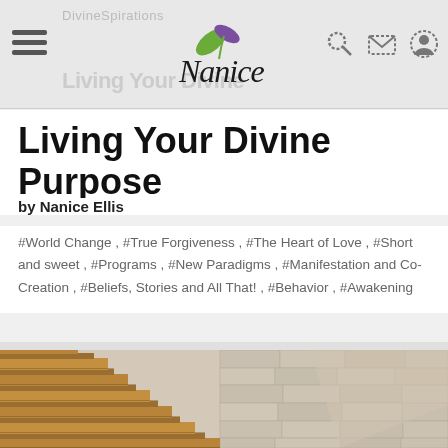DivineSpirations — Nanice (logo and navigation bar)
Living Your Divine Purpose
by Nanice Ellis
#World Change , #True Forgiveness , #The Heart of Love , #Short and sweet , #Programs , #New Paradigms , #Manifestation and Co-Creation , #Beliefs, Stories and All That! , #Behavior , #Awakening
[Figure (photo): Photograph of stone staircase with wooden steps on the left side and a stone wall on the right; a diagonal light streak crosses the image.]